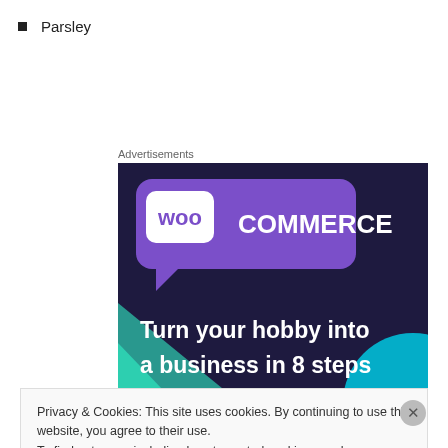Parsley
Advertisements
[Figure (illustration): WooCommerce advertisement banner with dark purple background, WooCommerce logo at top, green and cyan geometric shapes, text reading 'Turn your hobby into a business in 8 steps']
Privacy & Cookies: This site uses cookies. By continuing to use this website, you agree to their use.
To find out more, including how to control cookies, see here: Cookie Policy
Close and accept